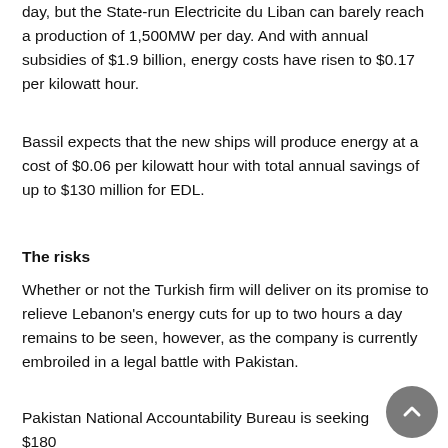day, but the State-run Electricite du Liban can barely reach a production of 1,500MW per day. And with annual subsidies of $1.9 billion, energy costs have risen to $0.17 per kilowatt hour.
Bassil expects that the new ships will produce energy at a cost of $0.06 per kilowatt hour with total annual savings of up to $130 million for EDL.
The risks
Whether or not the Turkish firm will deliver on its promise to relieve Lebanon's energy cuts for up to two hours a day remains to be seen, however, as the company is currently embroiled in a legal battle with Pakistan.
Pakistan National Accountability Bureau is seeking $180